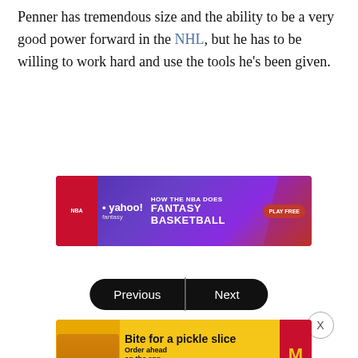Penner has tremendous size and the ability to be a very good power forward in the NHL, but he has to be willing to work hard and use the tools he's been given.
[Figure (other): Yahoo Fantasy NBA advertisement banner: 'HOW THE NBA DOES FANTASY BASKETBALL' with PLAY FREE button]
[Figure (other): Navigation buttons: Previous and Next]
[Figure (other): McDonald's advertisement banner: 'Bite for a pickle slice' with 'Order ahead on the app']